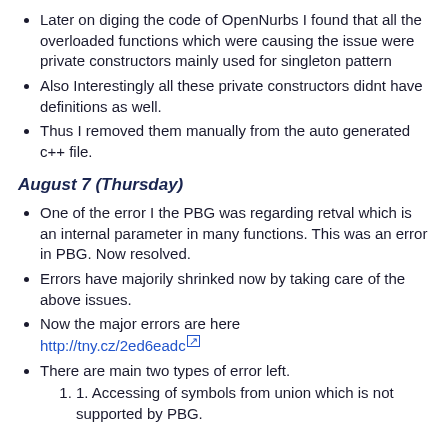Later on diging the code of OpenNurbs I found that all the overloaded functions which were causing the issue were private constructors mainly used for singleton pattern
Also Interestingly all these private constructors didnt have definitions as well.
Thus I removed them manually from the auto generated c++ file.
August 7 (Thursday)
One of the error I the PBG was regarding retval which is an internal parameter in many functions. This was an error in PBG. Now resolved.
Errors have majorily shrinked now by taking care of the above issues.
Now the major errors are here http://tny.cz/2ed6eadc
There are main two types of error left.
1. Accessing of symbols from union which is not supported by PBG.